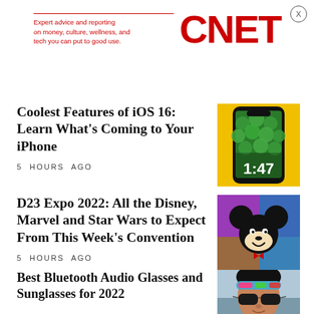CNET — Expert advice and reporting on money, culture, wellness, and tech you can put to good use.
Coolest Features of iOS 16: Learn What's Coming to Your iPhone
5 HOURS AGO
[Figure (photo): iPhone with green bubble lock screen showing time 1:47 on yellow background]
D23 Expo 2022: All the Disney, Marvel and Star Wars to Expect From This Week's Convention
5 HOURS AGO
[Figure (photo): Colorful Disney Mickey Mouse illustration with blue and pink background]
Best Bluetooth Audio Glasses and Sunglasses for 2022
[Figure (photo): Woman wearing colorful blue and pink headband and sunglasses outdoors]